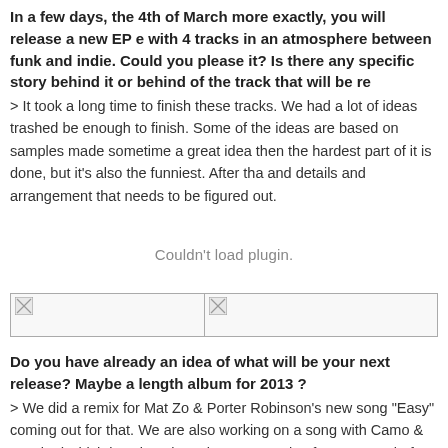In a few days, the 4th of March more exactly, you will release a new EP with 4 tracks in an atmosphere between funk and indie. Could you please it? Is there any specific story behind it or behind of the track that will be re
> It took a long time to finish these tracks. We had a lot of ideas trashed be enough to finish. Some of the ideas are based on samples made sometime a great idea then the hardest part of it is done, but it's also the funniest. After tha and details and arrangement that needs to be figured out.
[Figure (other): Plugin placeholder area showing 'Couldn't load plugin.' message]
[Figure (other): Two broken image placeholders side by side in a bordered bar]
Do you have already an idea of what will be your next release? Maybe a length album for 2013 ?
> We did a remix for Mat Zo & Porter Robinson's new song "Easy" coming out for that. We are also working on a song with Camo & Krooked which is going also release a couple of new songs before summer. We don't have time to fini year, but we will try to make as much new music as we can.